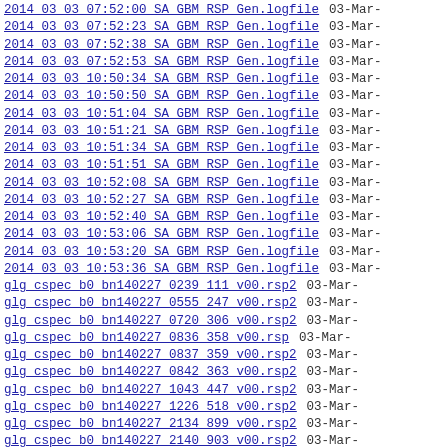2014 03 03 07:52:00 SA GBM RSP Gen.logfile   03-Mar-
2014 03 03 07:52:23 SA GBM RSP Gen.logfile   03-Mar-
2014 03 03 07:52:38 SA GBM RSP Gen.logfile   03-Mar-
2014 03 03 07:52:53 SA GBM RSP Gen.logfile   03-Mar-
2014 03 03 10:50:34 SA GBM RSP Gen.logfile   03-Mar-
2014 03 03 10:50:50 SA GBM RSP Gen.logfile   03-Mar-
2014 03 03 10:51:04 SA GBM RSP Gen.logfile   03-Mar-
2014 03 03 10:51:21 SA GBM RSP Gen.logfile   03-Mar-
2014 03 03 10:51:34 SA GBM RSP Gen.logfile   03-Mar-
2014 03 03 10:51:51 SA GBM RSP Gen.logfile   03-Mar-
2014 03 03 10:52:08 SA GBM RSP Gen.logfile   03-Mar-
2014 03 03 10:52:27 SA GBM RSP Gen.logfile   03-Mar-
2014 03 03 10:52:40 SA GBM RSP Gen.logfile   03-Mar-
2014 03 03 10:53:06 SA GBM RSP Gen.logfile   03-Mar-
2014 03 03 10:53:20 SA GBM RSP Gen.logfile   03-Mar-
2014 03 03 10:53:36 SA GBM RSP Gen.logfile   03-Mar-
glg_cspec_b0_bn140227_0239_111_v00.rsp2   03-Mar-
glg_cspec_b0_bn140227_0555_247_v00.rsp2   03-Mar-
glg_cspec_b0_bn140227_0720_306_v00.rsp2   03-Mar-
glg_cspec_b0_bn140227_0836_358_v00.rsp   03-Mar-
glg_cspec_b0_bn140227_0837_359_v00.rsp2   03-Mar-
glg_cspec_b0_bn140227_0842_363_v00.rsp2   03-Mar-
glg_cspec_b0_bn140227_1043_447_v00.rsp2   03-Mar-
glg_cspec_b0_bn140227_1226_518_v00.rsp2   03-Mar-
glg_cspec_b0_bn140227_2134_899_v00.rsp2   03-Mar-
glg_cspec_b0_bn140227_2140_903_v00.rsp2   03-Mar-
glg_cspec_b0_bn140227_2147_908_v00.rsp2   03-Mar-
glg_cspec_b0_bn140227_2152_911_v00.rsp2   03-Mar-
glg_cspec_b1_bn140227_0239_111_v00.rsp2   03-Mar-
glg_cspec_b1_bn140227_0555_247_v00.rsp2   03-Mar-